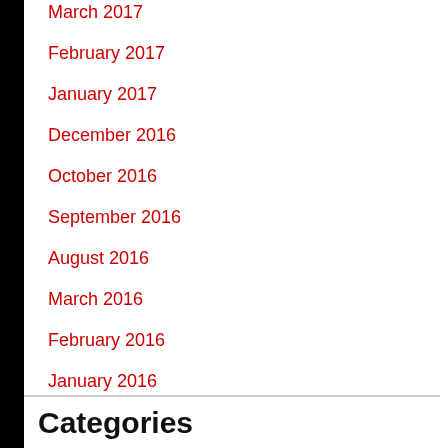March 2017
February 2017
January 2017
December 2016
October 2016
September 2016
August 2016
March 2016
February 2016
January 2016
December 2015
Categories